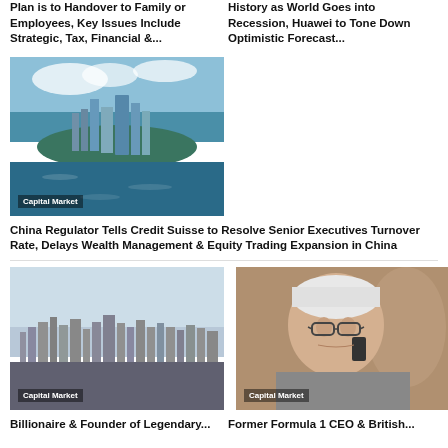Plan is to Handover to Family or Employees, Key Issues Include Strategic, Tax, Financial &...
History as World Goes into Recession, Huawei to Tone Down Optimistic Forecast...
[Figure (photo): Aerial view of Hong Kong harbor with skyscrapers and water, labeled Capital Market]
China Regulator Tells Credit Suisse to Resolve Senior Executives Turnover Rate, Delays Wealth Management & Equity Trading Expansion in China
[Figure (photo): Aerial view of New York City skyline, labeled Capital Market]
[Figure (photo): Elderly man talking on mobile phone, labeled Capital Market]
Billionaire & Founder of Legendary...
Former Formula 1 CEO & British...